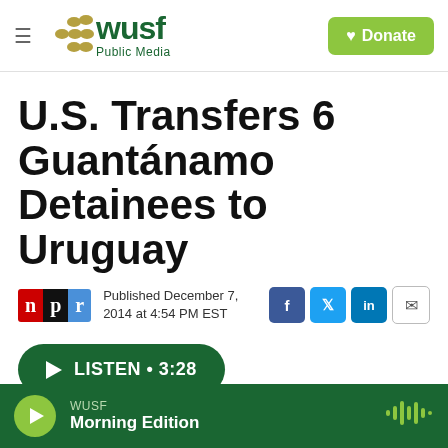WUSF Public Media — Donate
U.S. Transfers 6 Guantánamo Detainees to Uruguay
Published December 7, 2014 at 4:54 PM EST
LISTEN • 3:28
WUSF Morning Edition